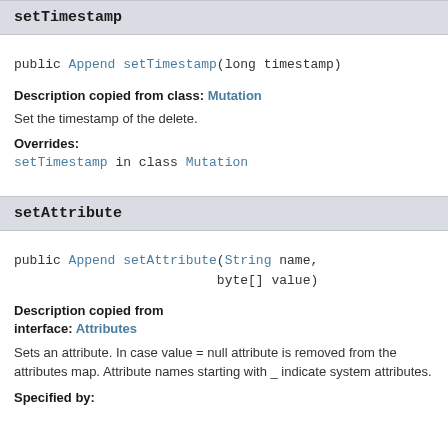setTimestamp
public Append setTimestamp(long timestamp)
Description copied from class: Mutation
Set the timestamp of the delete.
Overrides:
setTimestamp in class Mutation
setAttribute
public Append setAttribute(String name,
                          byte[] value)
Description copied from interface: Attributes
Sets an attribute. In case value = null attribute is removed from the attributes map. Attribute names starting with _ indicate system attributes.
Specified by: